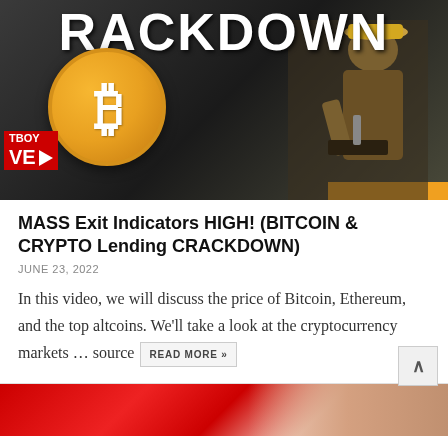[Figure (photo): Thumbnail image for a YouTube video titled CRACKDOWN showing a large golden Bitcoin coin logo, text 'CRACKDOWN' at top, a person in the background, and a red TBOY LIVE badge with camera icon in the bottom left.]
MASS Exit Indicators HIGH! (BITCOIN & CRYPTO Lending CRACKDOWN)
JUNE 23, 2022
In this video, we will discuss the price of Bitcoin, Ethereum, and the top altcoins. We'll take a look at the cryptocurrency markets … source READ MORE »
[Figure (photo): Bottom portion of a second article thumbnail image, partially visible, showing red background with a person.]